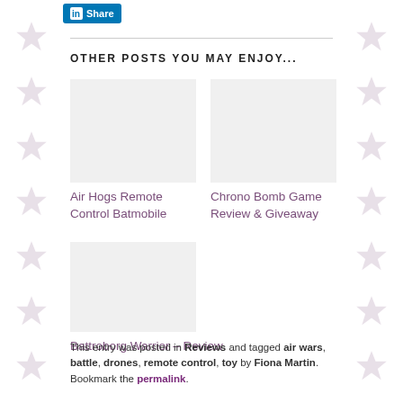[Figure (logo): LinkedIn Share button - blue button with LinkedIn icon and 'Share' text]
OTHER POSTS YOU MAY ENJOY...
Air Hogs Remote Control Batmobile
Chrono Bomb Game Review & Giveaway
Battroborg Warrior – Review
This entry was posted in Reviews and tagged air wars, battle, drones, remote control, toy by Fiona Martin. Bookmark the permalink.